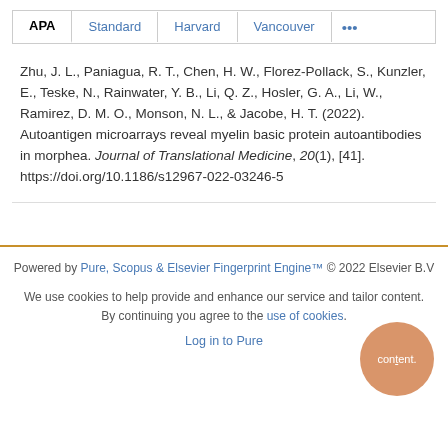APA   Standard   Harvard   Vancouver   ...
Zhu, J. L., Paniagua, R. T., Chen, H. W., Florez-Pollack, S., Kunzler, E., Teske, N., Rainwater, Y. B., Li, Q. Z., Hosler, G. A., Li, W., Ramirez, D. M. O., Monson, N. L., & Jacobe, H. T. (2022). Autoantigen microarrays reveal myelin basic protein autoantibodies in morphea. Journal of Translational Medicine, 20(1), [41]. https://doi.org/10.1186/s12967-022-03246-5
Powered by Pure, Scopus & Elsevier Fingerprint Engine™ © 2022 Elsevier B.V
We use cookies to help provide and enhance our service and tailor content. By continuing you agree to the use of cookies
Log in to Pure